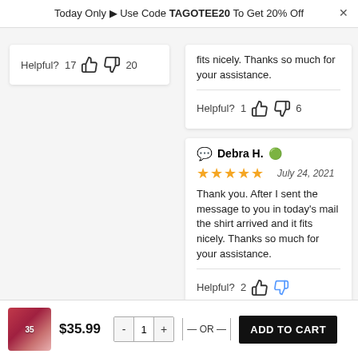Today Only 🏷 Use Code TAGOTEE20 To Get 20% Off
Helpful?  17 👍 👎 20
fits nicely. Thanks so much for your assistance.
Helpful?  1 👍 👎 6
Debra H. ✅
★★★★★  July 24, 2021
Thank you. After I sent the message to you in today's mail the shirt arrived and it fits nicely. Thanks so much for your assistance.
Helpful?  2 👍 👎
$35.99
- 1 + — OR — ADD TO CART